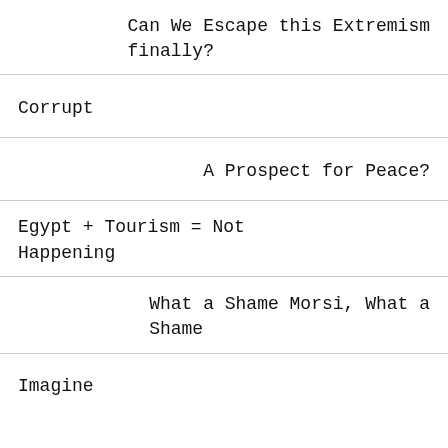Can We Escape this Extremism finally?
Corrupt
A Prospect for Peace?
Egypt + Tourism = Not Happening
What a Shame Morsi, What a Shame
Imagine